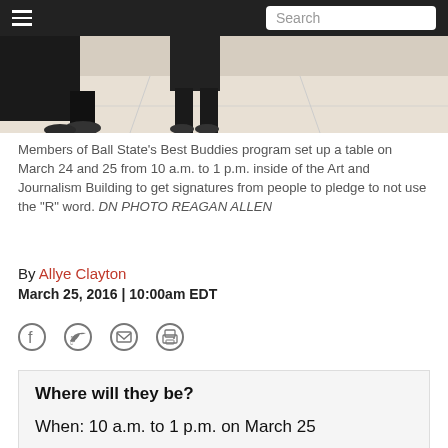[Figure (photo): Top portion of a photo showing feet and legs of people near a table, with a light-colored floor, inside a building. Navigation bar with hamburger menu and search box overlaid at top.]
Members of Ball State's Best Buddies program set up a table on March 24 and 25 from 10 a.m. to 1 p.m. inside of the Art and Journalism Building to get signatures from people to pledge to not use the "R" word. DN PHOTO REAGAN ALLEN
By Allye Clayton
March 25, 2016 | 10:00am EDT
Where will they be?
When: 10 a.m. to 1 p.m. on March 25
Where: Art and Journalism Building